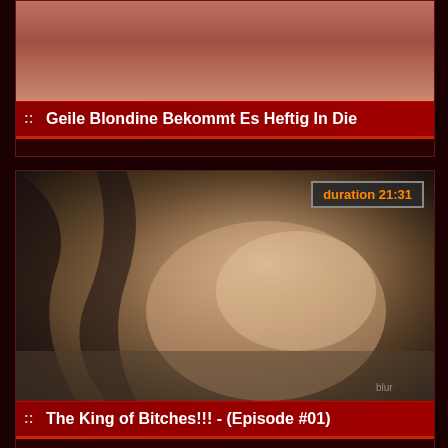[Figure (photo): Partial thumbnail of first video, cropped at top]
Geile Blondine Bekommt Es Heftig In Die
[Figure (photo): Video thumbnail showing outdoor scene, duration badge 21:31]
The King of Bitches!!! - (Episode #01)
[Figure (photo): Video thumbnail showing teal/dark scene, duration badge 2:18]